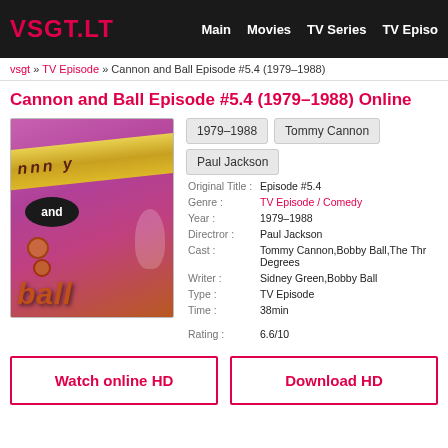VSGT.LT  Main  Movies  TV Series  TV Episode
vsgt » TV Episode » Cannon and Ball Episode #5.4 (1979–1988)
Cannon and Ball Episode #5.4 (1979–1988) Online
[Figure (photo): Movie/TV show poster for Cannon and Ball with purple background, gold banner with italic text, and stylized 'ball' text at bottom]
1979–1988  Tommy Cannon  Paul Jackson
| Field | Value |
| --- | --- |
| Original Title : | Episode #5.4 |
| Genre : | TV Episode / Comedy |
| Year : | 1979–1988 |
| Directror : | Paul Jackson |
| Cast : | Tommy Cannon,Bobby Ball,The Three Degrees |
| Writer : | Sidney Green,Bobby Ball |
| Type : | TV Episode |
| Time : | 38min |
| Rating : | 6.6/10 |
Watch online HD
Download HD